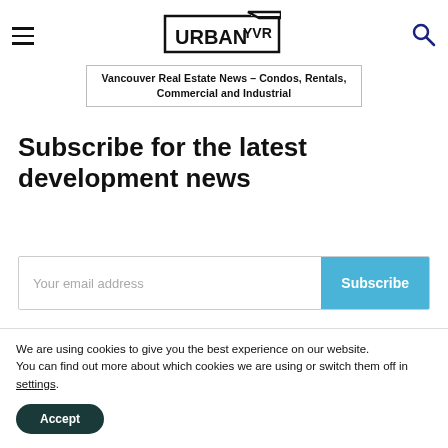URBAN YVR — Vancouver Real Estate News – Condos, Rentals, Commercial and Industrial
Subscribe for the latest development news
Your email address
Subscribe
We are using cookies to give you the best experience on our website.
You can find out more about which cookies we are using or switch them off in settings.
Accept